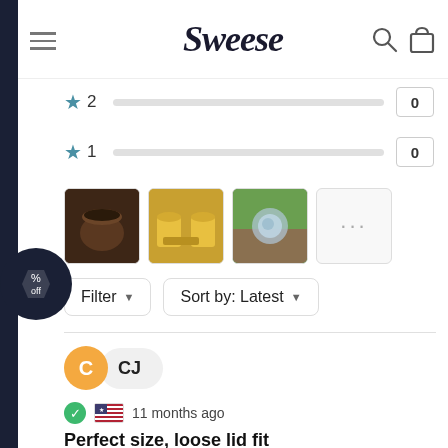Sweese — navigation header with menu, logo, search and cart icons
[Figure (other): Star rating row for 2-star: star icon, number 2, empty bar, count box showing 0]
[Figure (other): Star rating row for 1-star: star icon, number 1, empty bar, count box showing 0]
[Figure (photo): Four review photo thumbnails: coffee mug, yellow cups, outdoor product shot, and a more (...) placeholder]
Filter  ▾     Sort by: Latest  ▾
CJ
✓ 🇺🇸 11 months ago
Perfect size, loose lid fit
I love the size and shape of this mug. I only gave it a 4